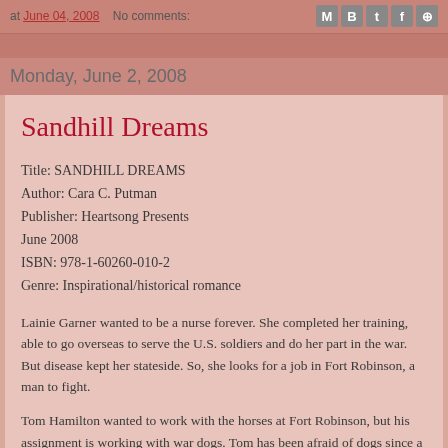at June 04, 2008   No comments:
Monday, June 2, 2008
Sandhill Dreams
Title: SANDHILL DREAMS
Author: Cara C. Putman
Publisher: Heartsong Presents
June 2008
ISBN: 978-1-60260-010-2
Genre: Inspirational/historical romance
Lainie Garner wanted to be a nurse forever. She completed her training, able to go overseas to serve the U.S. soldiers and do her part in the war. But disease kept her stateside. So, she looks for a job in Fort Robinson, a man to fight.
Tom Hamilton wanted to work with the horses at Fort Robinson, but his assignment is working with war dogs. Tom has been afraid of dogs since a child, so he dreads every day.